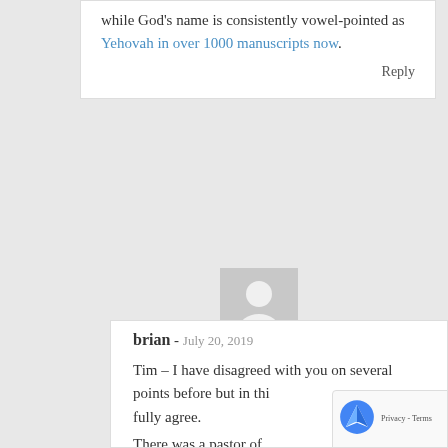while God's name is consistently vowel-pointed as Yehovah in over 1000 manuscripts now.
Reply
[Figure (illustration): Generic user avatar placeholder — gray square with white silhouette of a person]
brian - July 20, 2019
Tim – I have disagreed with you on several points before but in this I fully agree.
There was a pastor of